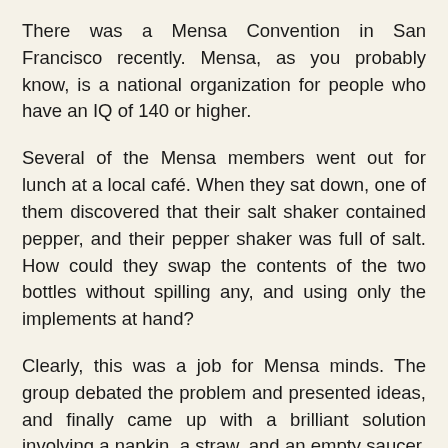There was a Mensa Convention in San Francisco recently. Mensa, as you probably know, is a national organization for people who have an IQ of 140 or higher.
Several of the Mensa members went out for lunch at a local café. When they sat down, one of them discovered that their salt shaker contained pepper, and their pepper shaker was full of salt. How could they swap the contents of the two bottles without spilling any, and using only the implements at hand?
Clearly, this was a job for Mensa minds. The group debated the problem and presented ideas, and finally came up with a brilliant solution involving a napkin, a straw, and an empty saucer. They called the waitress over, ready to dazzle her with their solution.
"Ma'am", they said, "we couldn't help but notice